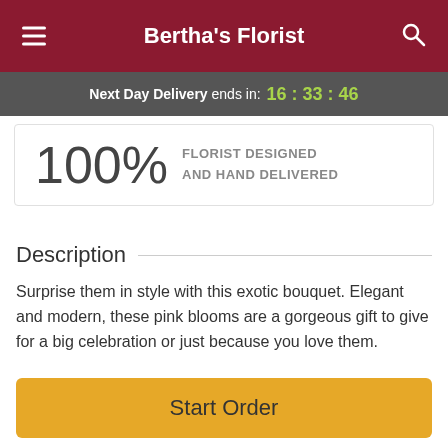Bertha's Florist
Next Day Delivery ends in: 16:33:46
100% FLORIST DESIGNED AND HAND DELIVERED
Description
Surprise them in style with this exotic bouquet. Elegant and modern, these pink blooms are a gorgeous gift to give for a big celebration or just because you love them.
Treat them to dendrobium orchids that pop against monkey grass and galax leaves.
Start Order